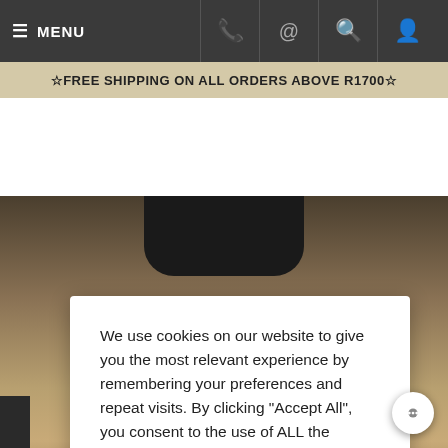≡ MENU
☆ FREE SHIPPING ON ALL ORDERS ABOVE R1700 ☆
[Figure (photo): Background photo of leather shoes/boots on a stone surface, partially visible behind cookie consent dialog]
We use cookies on our website to give you the most relevant experience by remembering your preferences and repeat visits. By clicking "Accept All", you consent to the use of ALL the cookies.
Reject All   Accept All